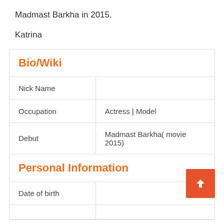Madmast Barkha in 2015.
Katrina
| Bio/Wiki |  |
| --- | --- |
| Nick Name |  |
| Occupation | Actress | Model |
| Debut | Madmast Barkha( movie 2015) |
| Personal Information |  |
| Date of birth |  |